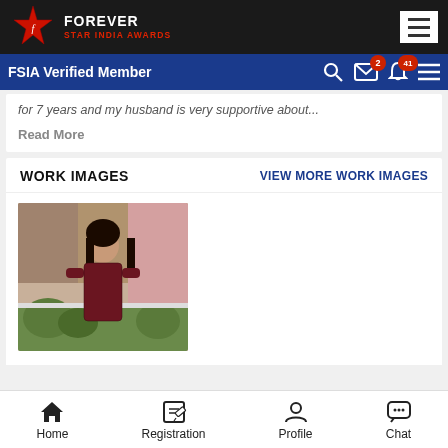FOREVER STAR INDIA AWARDS
FSIA Verified Member
for 7 years and my husband is very supportive about
Read More
WORK IMAGES
VIEW MORE WORK IMAGES
[Figure (photo): Portrait photo of a young woman in a dark red dress standing outdoors near plants and a building]
Home  Registration  Profile  Chat